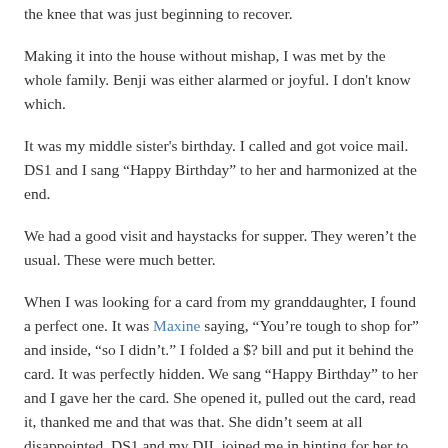the knee that was just beginning to recover.
Making it into the house without mishap, I was met by the whole family. Benji was either alarmed or joyful. I don't know which.
It was my middle sister's birthday. I called and got voice mail. DS1 and I sang “Happy Birthday” to her and harmonized at the end.
We had a good visit and haystacks for supper. They weren’t the usual. These were much better.
When I was looking for a card from my granddaughter, I found a perfect one. It was Maxine saying, “You’re tough to shop for” and inside, “so I didn’t.” I folded a $? bill and put it behind the card. It was perfectly hidden. We sang “Happy Birthday” to her and I gave her the card. She opened it, pulled out the card, read it, thanked me and that was that. She didn’t seem at all disappointed. DS1 and my DIL joined me in hinting for her to look in the envelope and you should